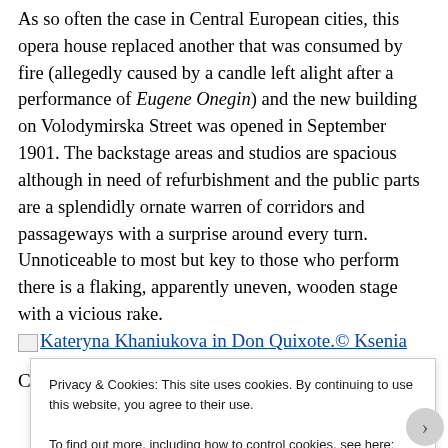As so often the case in Central European cities, this opera house replaced another that was consumed by fire (allegedly caused by a candle left alight after a performance of Eugene Onegin) and the new building on Volodymirska Street was opened in September 1901. The backstage areas and studios are spacious although in need of refurbishment and the public parts are a splendidly ornate warren of corridors and passageways with a surprise around every turn. Unnoticeable to most but key to those who perform there is a flaking, apparently uneven, wooden stage with a vicious rake.
[Figure (photo): Image placeholder icon followed by link text: Kateryna Khaniukova in Don Quixote.© Ksenia]
C... (Click image for larger version)
Privacy & Cookies: This site uses cookies. By continuing to use this website, you agree to their use.
To find out more, including how to control cookies, see here: Cookie Policy